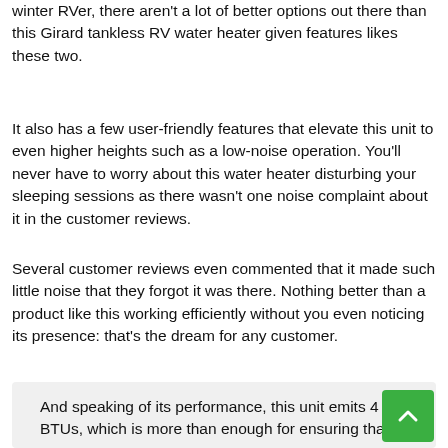winter RVer, there aren't a lot of better options out there than this Girard tankless RV water heater given features likes these two.
It also has a few user-friendly features that elevate this unit to even higher heights such as a low-noise operation. You'll never have to worry about this water heater disturbing your sleeping sessions as there wasn't one noise complaint about it in the customer reviews.
Several customer reviews even commented that it made such little noise that they forgot it was there. Nothing better than a product like this working efficiently without you even noticing its presence: that's the dream for any customer.
And speaking of its performance, this unit emits 4… BTUs, which is more than enough for ensuring that you